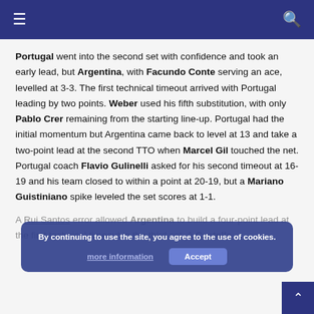≡  🔍
Portugal went into the second set with confidence and took an early lead, but Argentina, with Facundo Conte serving an ace, levelled at 3-3. The first technical timeout arrived with Portugal leading by two points. Weber used his fifth substitution, with only Pablo Crer remaining from the starting line-up. Portugal had the initial momentum but Argentina came back to level at 13 and take a two-point lead at the second TTO when Marcel Gil touched the net. Portugal coach Flavio Gulinelli asked for his second timeout at 16-19 and his team closed to within a point at 20-19, but a Mariano Guistiniano spike leveled the set scores at 1-1.
A Rui Santos error allowed Argentina to build a four-point lead at the first technical timeout in the third set. A Castellan ace made it 14-9 and the home team were seven points up